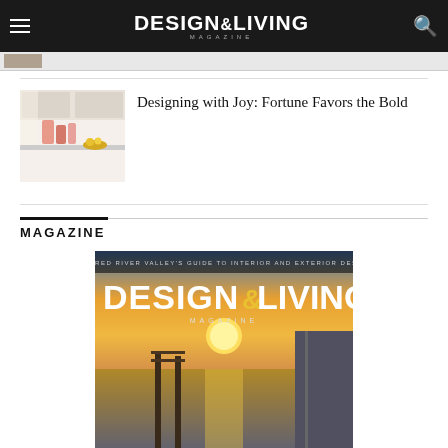DESIGN&LIVING MAGAZINE
[Figure (photo): Thumbnail photo of a bright kitchen interior with pink glassware on white countertops]
Designing with Joy: Fortune Favors the Bold
MAGAZINE
[Figure (photo): Cover of Design & Living Magazine showing a lakeside sunset with a dock, text 'THE RED RIVER VALLEY'S GUIDE TO INTERIOR AND EXTERIOR DESIGN', 'DESIGN&LIVING MAGAZINE']